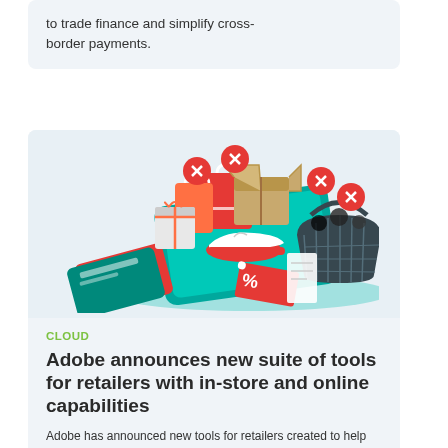to trade finance and simplify cross-border payments.
[Figure (illustration): E-commerce illustration showing a smartphone with shopping bags, boxes, a basket of items, a credit card, and discount tags floating above it — representing online and in-store retail capabilities]
CLOUD
Adobe announces new suite of tools for retailers with in-store and online capabilities
Adobe has announced new tools for retailers created to help further deliver seamless shopping experiences